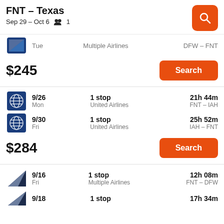FNT – Texas
Sep 29 – Oct 6   1
Tue   Multiple Airlines   DFW – FNT
$245
Search
9/26   Mon   1 stop   United Airlines   21h 44m   FNT – IAH
9/30   Fri   1 stop   United Airlines   25h 52m   IAH – FNT
$284
Search
9/16   Fri   1 stop   Multiple Airlines   12h 08m   FNT – DFW
9/18   1 stop   17h 34m